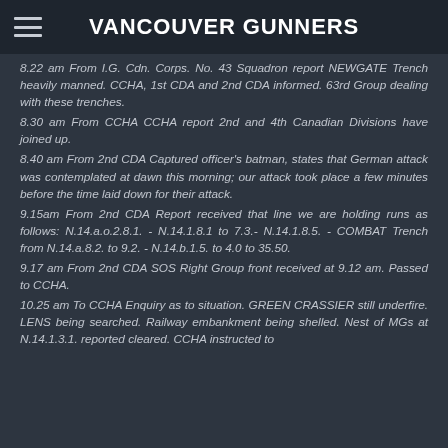VANCOUVER GUNNERS
8.22 am From I.G. Cdn. Corps. No. 43 Squadron report NEWGATE Trench heavily manned. CCHA, 1st CDA and 2nd CDA informed. 63rd Group dealing with these trenches.
8.30 am From CCHA CCHA report 2nd and 4th Canadian Divisions have joined up.
8.40 am From 2nd CDA Captured officer's batman, states that German attack was contemplated at dawn this morning; our attack took place a few minutes before the time laid down for their attack.
9.15am From 2nd CDA Report received that line we are holding runs as follows: N.14.a.o.2.8.1. - N.14.1.8.1 to 7.3.- N.14.1.8.5. - COMBAT Trench from N.14.a.8.2. to 9.2. - N.14.b.1.5. to 4.0 to 35.50.
9.17 am From 2nd CDA SOS Right Group front received at 9.12 am. Passed to CCHA.
10.25 am To CCHA Enquiry as to situation. GREEN CRASSIER still underfire. LENS being searched. Railway embankment being shelled. Nest of MGs at N.14.1.3.1. reported cleared. CCHA instructed to